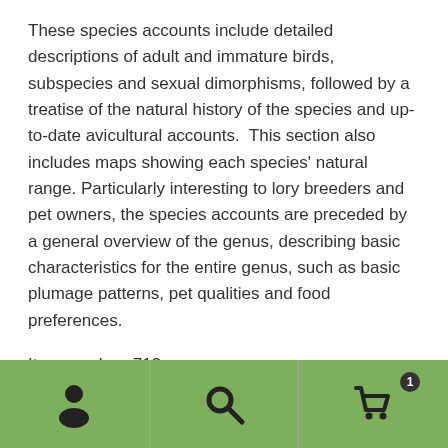These species accounts include detailed descriptions of adult and immature birds, subspecies and sexual dimorphisms, followed by a treatise of the natural history of the species and up-to-date avicultural accounts.  This section also includes maps showing each species' natural range. Particularly interesting to lory breeders and pet owners, the species accounts are preceded by a general overview of the genus, describing basic characteristics for the entire genus, such as basic plumage patterns, pet qualities and food preferences.
Item number: 713
ISBN: 9780888394132
[Figure (infographic): Green navigation footer bar with three icons: a person/user icon on the left, a search/magnifying glass icon in the center, and a shopping cart icon with a badge showing '1' on the right. The sections are separated by thin vertical lines.]